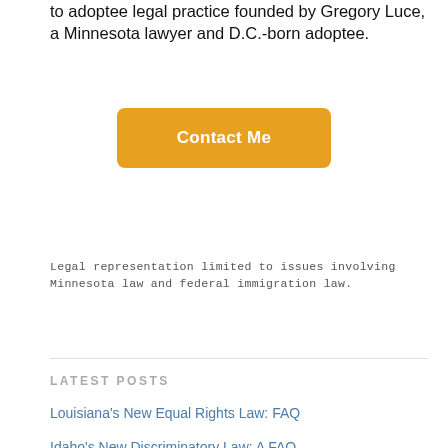to adoptee legal practice founded by Gregory Luce, a Minnesota lawyer and D.C.-born adoptee.
[Figure (other): Orange rounded rectangle button with white bold text reading 'Contact Me']
Legal representation limited to issues involving Minnesota law and federal immigration law.
LATEST POSTS
Louisiana's New Equal Rights Law: FAQ
Idaho's New Discriminatory Law: A FAQ
Getting Your Own Immigration Records
Testimony in Favor of Louisiana HB450